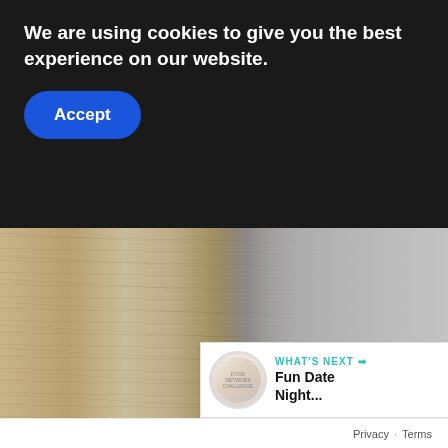We are using cookies to give you the best experience on our website.
Accept
[Figure (photo): Close-up photo of weathered wooden deck planks on the left transitioning to grey concrete surface on the right]
ADVERTISEMENT
1
WHAT'S NEXT →
Fun Date Night...
Privacy · Terms